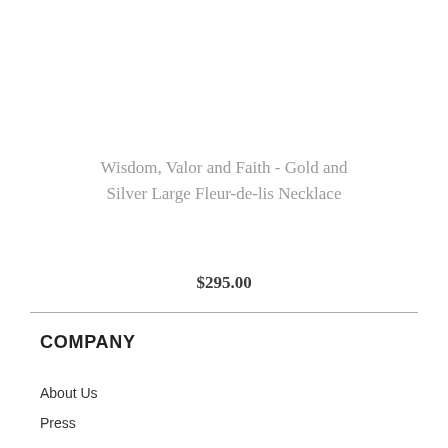Wisdom, Valor and Faith - Gold and Silver Large Fleur-de-lis Necklace
$295.00
COMPANY
About Us
Press